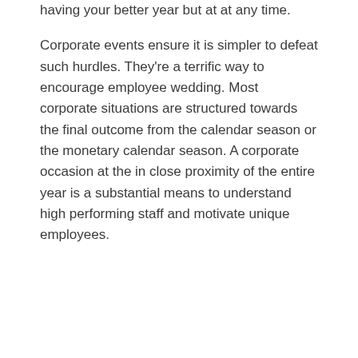some other individuals. You might start having your better year but at at any time.
Corporate events ensure it is simpler to defeat such hurdles. They're a terrific way to encourage employee wedding. Most corporate situations are structured towards the final outcome from the calendar season or the monetary calendar season. A corporate occasion at the in close proximity of the entire year is a substantial means to understand high performing staff and motivate unique employees.